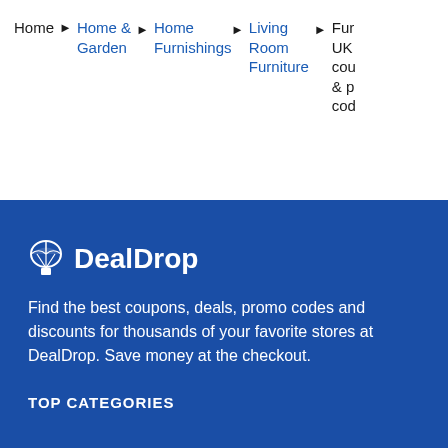Home > Home & Garden > Home Furnishings > Living Room Furniture > Fur... UK... cou... & p... cod...
[Figure (logo): DealDrop parachute logo icon with brand name DealDrop in white text on blue background]
Find the best coupons, deals, promo codes and discounts for thousands of your favorite stores at DealDrop. Save money at the checkout.
TOP CATEGORIES